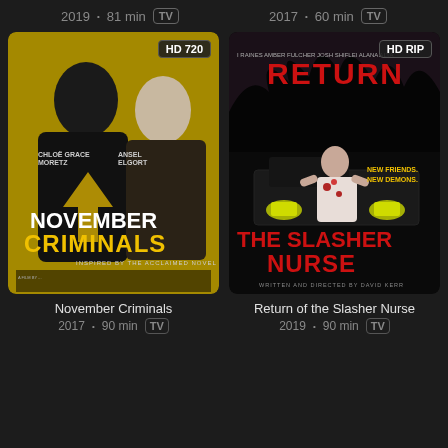2019 • 81 min TV
2017 • 60 min TV
[Figure (photo): Movie poster for November Criminals (2017) featuring two young faces (male and female) in black and white against a yellow background, with the title text 'NOVEMBER CRIMINALS' in bold. Quality badge: HD 720]
[Figure (photo): Movie poster for Return of the Slasher Nurse (2019) featuring a bloody zombie nurse in front of a truck in a dark forest, title text 'THE SLASHER NURSE' and 'RETURN' in red. Quality badge: HD RIP]
November Criminals
Return of the Slasher Nurse
2017 • 90 min TV
2019 • 90 min TV